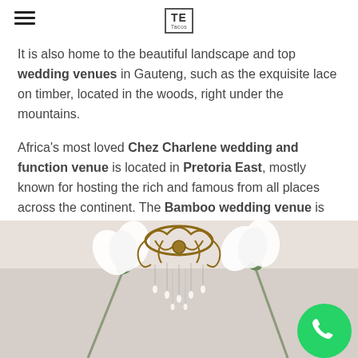TE [logo]
It is also home to the beautiful landscape and top wedding venues in Gauteng, such as the exquisite lace on timber, located in the woods, right under the mountains.
Africa's most loved Chez Charlene wedding and function venue is located in Pretoria East, mostly known for hosting the rich and famous from all places across the continent. The Bamboo wedding venue is just across the road from chez Charlene, offering the vintage and the Natural bamboos across the venue.
[Figure (photo): Interior photo of a wedding venue showing an ornate chandelier with crystal droplets on a light ceiling, with large white fabric flower decorations on tall stems and green foliage visible. A WhatsApp contact button overlay in green is visible at lower right.]